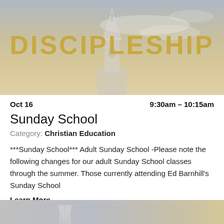[Figure (illustration): Church steeple with sky background banner with large gold text DISCIPLESHIP overlay]
Oct 16   9:30am – 10:15am
Sunday School
Category: Christian Education
***Sunday School*** Adult Sunday School -Please note the following changes for our adult Sunday School classes through the summer. Those currently attending Ed Barnhill's Sunday School
Learn More
[Figure (illustration): Partial bottom banner image of church steeple with sky background]